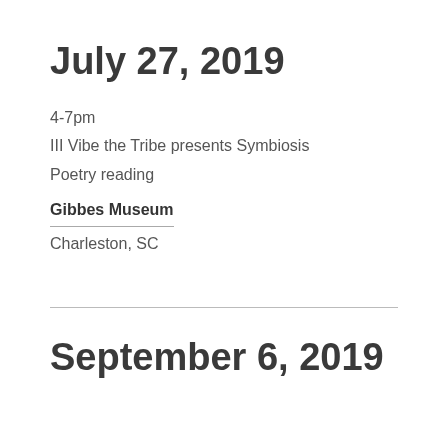July 27, 2019
4-7pm
III Vibe the Tribe presents Symbiosis
Poetry reading
Gibbes Museum
Charleston, SC
September 6, 2019